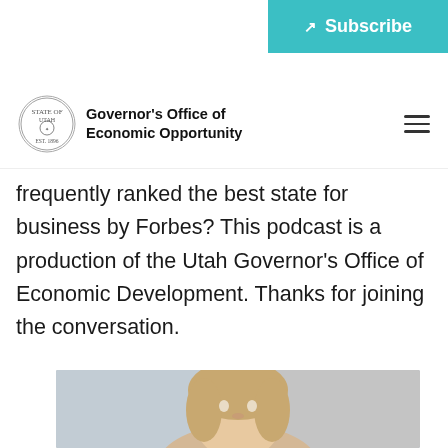Subscribe
Governor's Office of Economic Opportunity
frequently ranked the best state for business by Forbes? This podcast is a production of the Utah Governor's Office of Economic Development. Thanks for joining the conversation.
[Figure (photo): Headshot of a blonde woman against a blurred office background]